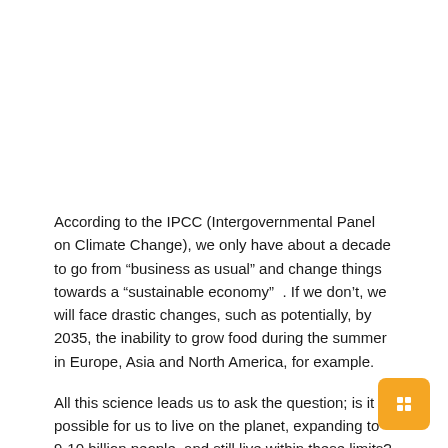According to the IPCC (Intergovernmental Panel on Climate Change), we only have about a decade to go from “business as usual” and change things towards a “sustainable economy” . If we don’t, we will face drastic changes, such as potentially, by 2035, the inability to grow food during the summer in Europe, Asia and North America, for example.
All this science leads us to ask the question; is it possible for us to live on the planet, expanding to 9-10 billion people, and still live within these limits?